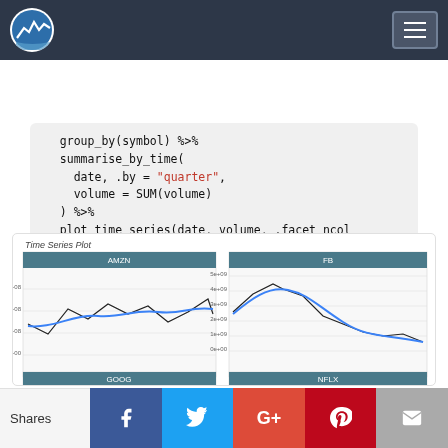Navigation bar with logo and hamburger menu
group_by(symbol) %>%
  summarise_by_time(
    date, .by = "quarter",
    volume = SUM(volume)
  ) %>%
  plot_time_series(date, volume, .facet_ncol = 2, .interactive = FALSE, .y_intercept = 0)
[Figure (line-chart): Four-panel time series plot showing quarterly trading volume for AMZN, FB, GOOG, and NFLX stocks. Each panel has a teal header bar with the stock ticker, black jagged line for actual quarterly volumes, and a blue smooth trend line. AMZN panel shows values around 2e+08 to 3e+08. FB panel shows values from about 1e+09 to 5e+09. GOOG and NFLX panels are partially visible.]
Shares | Facebook | Twitter | Google+ | Pinterest | Email